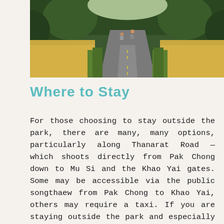[Figure (photo): A winding road through lush green and golden dry grass, with two motorcyclists riding away from the camera; dense trees in the background.]
Where to Stay
For those choosing to stay outside the park, there are many, many options, particularly along Thanarat Road — which shoots directly from Pak Chong down to Mu Si and the Khao Yai gates. Some may be accessible via the public songthaew from Pak Chong to Khao Yai, others may require a taxi. If you are staying outside the park and especially if you book tours with your accommodation, many places will pick you up at the train or bus station. You can explore options here on Agoda, my favorite site for